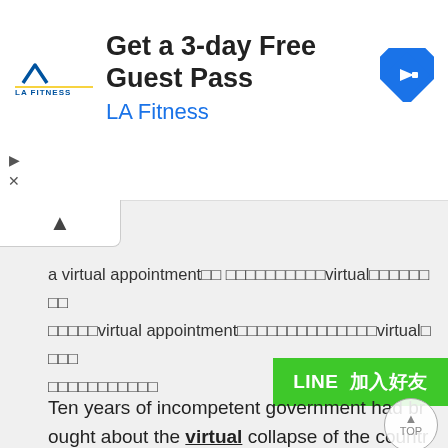[Figure (screenshot): LA Fitness advertisement banner with logo, 'Get a 3-day Free Guest Pass', 'LA Fitness' text in blue, and a blue navigation arrow icon on the right. Ad controls (play/close) on the left side.]
[Figure (screenshot): A collapse/accordion tab with an upward caret arrow (^) on a white rounded tab]
a virtual appointment□□ □□□□□□□□□□virtual□□□□□□□□ □□□□□virtual appointment□□□□□□□□□□□□□□□virtual□□□□ □□□□□□□□□□□
[Figure (screenshot): Green LINE 加入好友 (Add Friend) button]
Ten years of incompetent government had brought about the virtual collapse of the countr